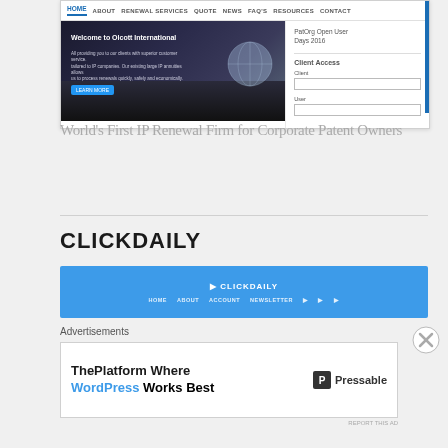[Figure (screenshot): Screenshot of Olcott International website with navigation bar (HOME, ABOUT, RENEWAL SERVICES, QUOTE, NEWS, FAQ's, RESOURCES, CONTACT), hero image of globe on keyboard with 'Welcome to Olcott International' text, and sidebar showing PatOrg Open User Days 2016 and Client Access fields]
World's First IP Renewal Firm for Corporate Patent Owners
CLICKDAILY
[Figure (screenshot): Screenshot of CLICKDAILY website header with blue background, CLICKDAILY logo, and navigation links]
Advertisements
[Figure (screenshot): Advertisement banner: ThePlatform Where WordPress Works Best — Pressable logo]